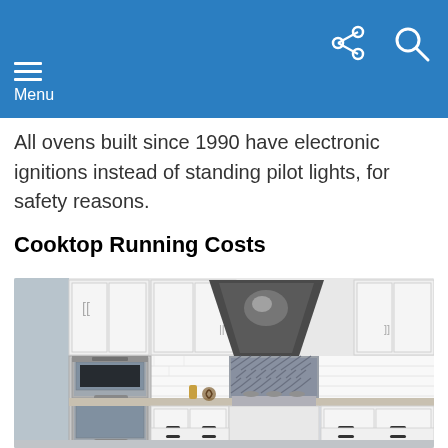Menu
All ovens built since 1990 have electronic ignitions instead of standing pilot lights, for safety reasons.
Cooktop Running Costs
[Figure (photo): Modern white kitchen with stainless steel double wall ovens on the left, a large dark metal range hood in the center above a gas cooktop, white subway tile backsplash, patterned tile behind the range, granite countertops, and white shaker-style cabinets.]